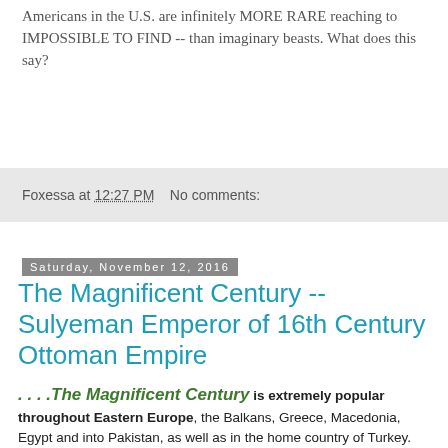Americans in the U.S. are infinitely MORE RARE reaching to IMPOSSIBLE TO FIND -- than imaginary beasts. What does this say?
Foxessa at 12:27 PM    No comments:
Saturday, November 12, 2016
The Magnificent Century -- Sulyeman Emperor of 16th Century Ottoman Empire
. . . .The Magnificent Century is extremely popular throughout Eastern Europe, the Balkans, Greece, Macedonia, Egypt and into Pakistan, as well as in the home country of Turkey. Recall, that all or almost all these nations that watch the series avidly were under lengthy Ottoman rule. It has become popular along with many other Turkish television show in Chile.